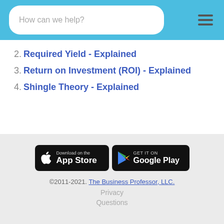How can we help?
2. Required Yield - Explained
3. Return on Investment (ROI) - Explained
4. Shingle Theory - Explained
[Figure (other): Download on the App Store and Get it on Google Play buttons]
©2011-2021. The Business Professor, LLC. Privacy Questions